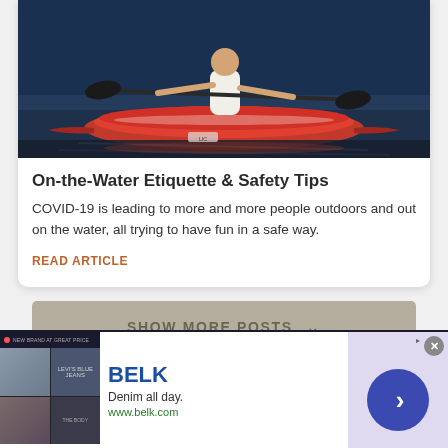[Figure (photo): Person kayaking in a red kayak on water, viewed from behind, paddling with a black paddle.]
On-the-Water Etiquette & Safety Tips
COVID-19 is leading to more and more people outdoors and out on the water, all trying to have fun in a safe way.
READ ARTICLE
SHOW MORE POSTS
[Figure (screenshot): Advertisement for BELK. Shows 'Denim all day.' tagline and www.belk.com URL with fashion images and a blue arrow button.]